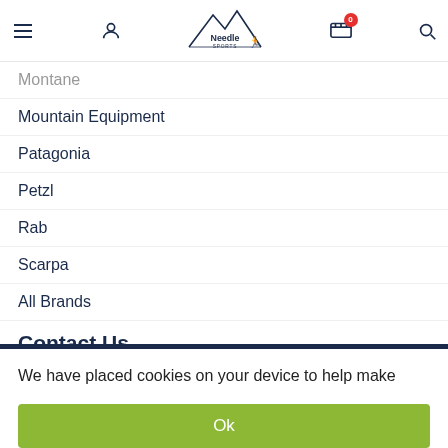Needle Sports navigation header with menu, user, cart (0), and search icons
Montane
Mountain Equipment
Patagonia
Petzl
Rab
Scarpa
All Brands
Contact Us
56 Main Street
We have placed cookies on your device to help make this website better.
Ok